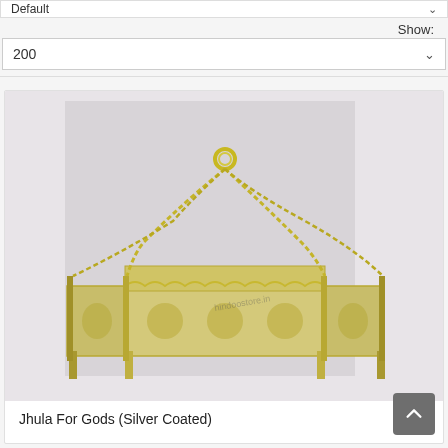Default
Show:
200
[Figure (photo): A silver-coated Jhula (swing/cradle) for gods, made of metal with decorative cutout floral panels on four sides and four chain links meeting at a ring on top, photographed on a light background.]
Jhula For Gods (Silver Coated)